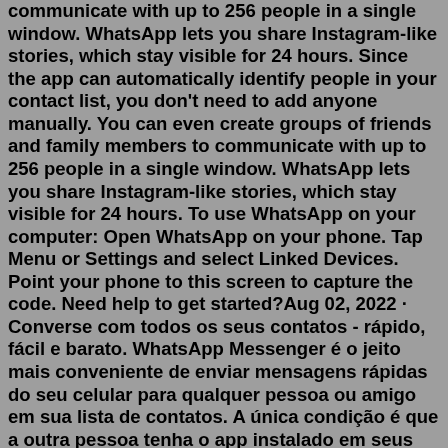communicate with up to 256 people in a single window. WhatsApp lets you share Instagram-like stories, which stay visible for 24 hours. Since the app can automatically identify people in your contact list, you don't need to add anyone manually. You can even create groups of friends and family members to communicate with up to 256 people in a single window. WhatsApp lets you share Instagram-like stories, which stay visible for 24 hours. To use WhatsApp on your computer: Open WhatsApp on your phone. Tap Menu or Settings and select Linked Devices. Point your phone to this screen to capture the code. Need help to get started?Aug 02, 2022 · Converse com todos os seus contatos - rápido, fácil e barato. WhatsApp Messenger é o jeito mais conveniente de enviar mensagens rápidas do seu celular para qualquer pessoa ou amigo em sua lista de contatos. A única condição é que a outra pessoa tenha o app instalado em seus próprios dispositivos. Atualmente, WhatsApp Messenger é ... Check the Supported Devices section in the Publishing Options